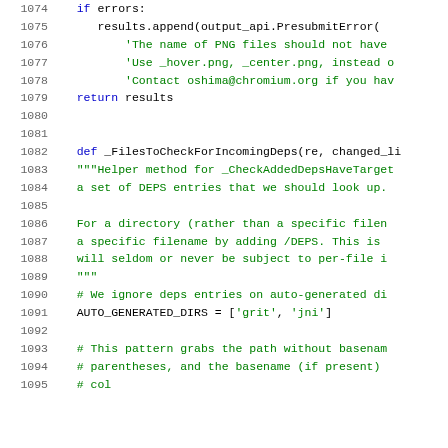Source code listing, lines 1074-1094, Python code showing error checking and a helper function _FilesToCheckForIncomingDeps